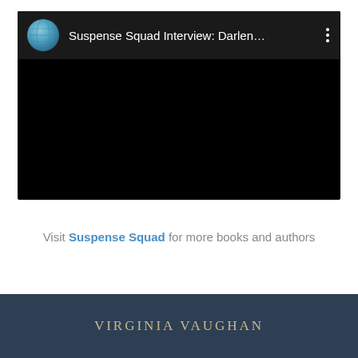[Figure (screenshot): Embedded video player screenshot showing a dark/black video frame with a header bar containing a globe icon on the left, the title 'Suspense Squad Interview: Darlen...' in white text, and a three-dot menu icon on the right.]
Visit Suspense Squad for more books and authors
VIRGINIA VAUGHAN